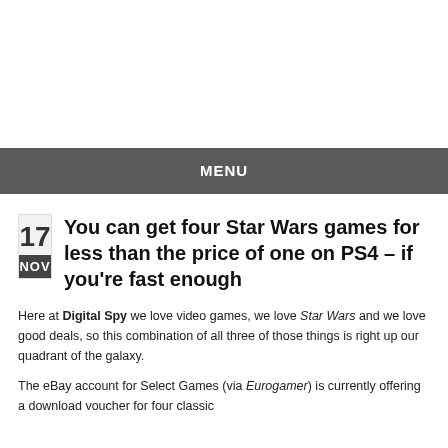MENU
You can get four Star Wars games for less than the price of one on PS4 – if you're fast enough
Here at Digital Spy we love video games, we love Star Wars and we love good deals, so this combination of all three of those things is right up our quadrant of the galaxy.
The eBay account for Select Games (via Eurogamer) is currently offering a download voucher for four classic